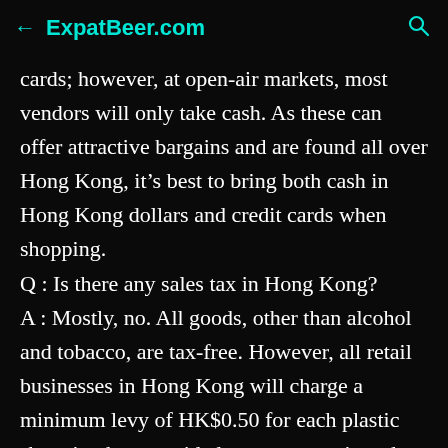← ExpatBeer.com 🔍
cards; however, at open-air markets, most vendors will only take cash. As these can offer attractive bargains and are found all over Hong Kong, it's best to bring both cash in Hong Kong dollars and credit cards when shopping.
Q : Is there any sales tax in Hong Kong?
A : Mostly, no. All goods, other than alcohol and tobacco, are tax-free. However, all retail businesses in Hong Kong will charge a minimum levy of HK$0.50 for each plastic shopping bag provided to customers in order to reduce waste.
Q : What are Hong Kong's official business hours?